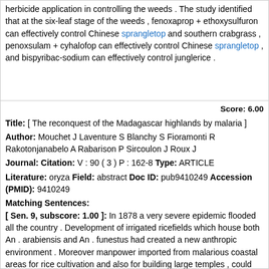herbicide application in controlling the weeds . The study identified that at the six-leaf stage of the weeds , fenoxaprop + ethoxysulfuron can effectively control Chinese sprangletop and southern crabgrass , penoxsulam + cyhalofop can effectively control Chinese sprangletop , and bispyribac-sodium can effectively control junglerice .
Score: 6.00
Title: [ The reconquest of the Madagascar highlands by malaria ]
Author: Mouchet J Laventure S Blanchy S Fioramonti R Rakotonjanabelo A Rabarison P Sircoulon J Roux J
Journal: Citation: V : 90 ( 3 ) P : 162-8 Type: ARTICLE
Literature: oryza Field: abstract Doc ID: pub9410249 Accession (PMID): 9410249
Matching Sentences:
[ Sen. 9, subscore: 1.00 ]: In 1878 a very severe epidemic flooded all the country . Development of irrigated ricefields which house both An . arabiensis and An . funestus had created a new anthropic environment . Moreover manpower imported from malarious coastal areas for rice cultivation and also for building large temples , could have brought P falciparum . After several outbreaks the disease became endemic up to 1949 . In 1949 a malaria eradication programme based on DDT spraying and drug chemoprophylaxis and chemotherapy was launched . By 1960 malaria was eliminated and DDT spraying cancelled . Only 3 foci were kept under surveillance with irregular spraying until 1975 . The prophylaxis and treatment centres ( "centres de nivaquinisation" ) were kept open up to 1979 . The catholic dispensary of Analaroa , 100 km NE of Tananarive , opened in 1971 and worked without interruption up to now .
[ Sen. 10, subscore: 1.00 ]: Development of irrigated ricefields which